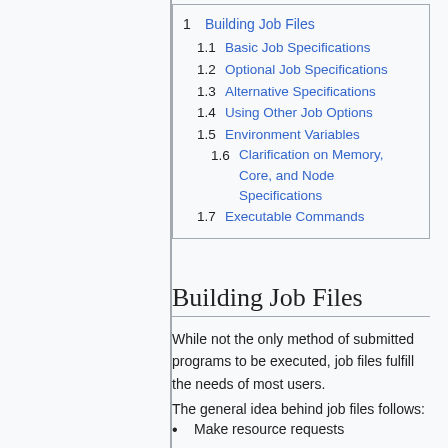1 Building Job Files
1.1 Basic Job Specifications
1.2 Optional Job Specifications
1.3 Alternative Specifications
1.4 Using Other Job Options
1.5 Environment Variables
1.6 Clarification on Memory, Core, and Node Specifications
1.7 Executable Commands
Building Job Files
While not the only method of submitted programs to be executed, job files fulfill the needs of most users.
The general idea behind job files follows:
Make resource requests
Add your commands and/or scripting
Submit the job to the batch system